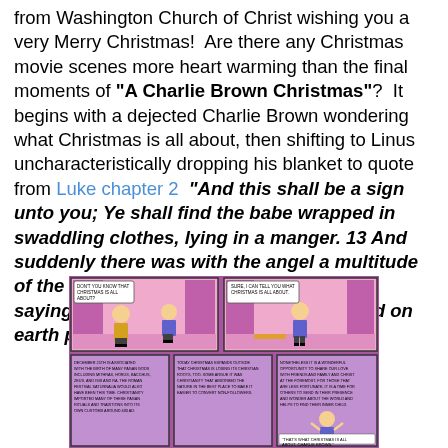Good morning, We replied from Washington Church of Christ wishing you a very Merry Christmas!  Are there any Christmas movie scenes more heart warming than the final moments of "A Charlie Brown Christmas"?  It begins with a dejected Charlie Brown wondering what Christmas is all about, then shifting to Linus uncharacteristically dropping his blanket to quote from Luke chapter 2  "And this shall be a sign unto you; Ye shall find the babe wrapped in swaddling clothes, lying in a manger. 13 And suddenly there was with the angel a multitude of the heavenly host praising God, and saying,14 Glory to God in the highest, and on earth peace, good will toward men."
[Figure (illustration): A Charlie Brown Christmas comic strip showing Charlie Brown and Linus on stage, followed by panels explaining Christmas origins and Linus raising his arms quoting scripture]